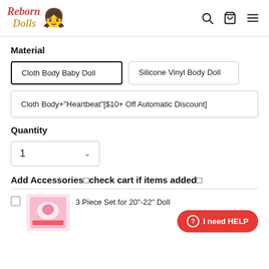Reborn Dolls
Material
Cloth Body Baby Doll
Silicone Vinyl Body Doll
Cloth Body+"Heartbeat"[$10+ Off Automatic Discount]
Quantity
1
Add Accessories□check cart if items added□
3 Piece Set for 20"-22" Doll